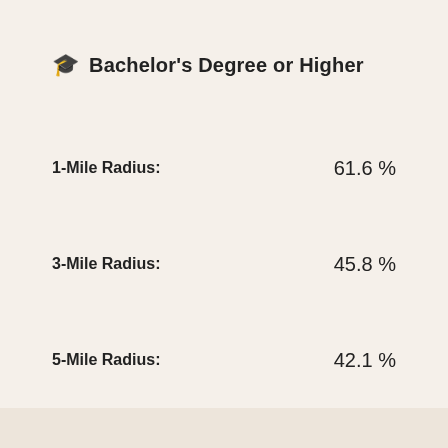🎓 Bachelor's Degree or Higher
1-Mile Radius: 61.6 %
3-Mile Radius: 45.8 %
5-Mile Radius: 42.1 %
10-Min Drive: 45.0 %